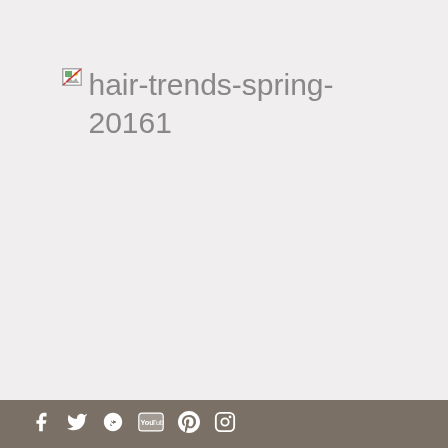[Figure (other): Broken image placeholder with alt text 'hair-trends-spring-20161'. Shows a broken image icon followed by the alt text rendered as visible text on a light gray background.]
Social media icons: Facebook, Twitter, Google+, YouTube, Pinterest, Instagram